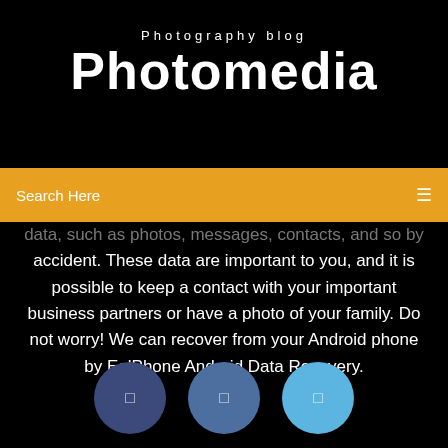Photography blog
Photomedia
Search Here
data, such as photos, messages, contacts, and so by accident. These data are important to you, and it is possible to keep a contact with your important business partners or have a photo of your family. Do not worry! We can recover from your Android phone by EelPhone Android Data Recovery.
[Figure (other): Three social media circular icon buttons in dark blue, medium blue, and light blue colors]